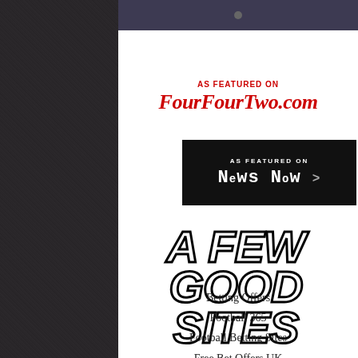[Figure (screenshot): Dark header bar with a dot/button at center top of white content column]
[Figure (logo): AS FEATURED ON FourFourTwo.com logo in red italic serif font]
[Figure (logo): AS FEATURED ON News Now > badge in black background with white pixel/monospace font]
A FEW GOOD SITES
Betting Offers
Football 365
Football Betting Sites
Free Bet Offers UK
Free Bets GB
Free Bets Hub UK